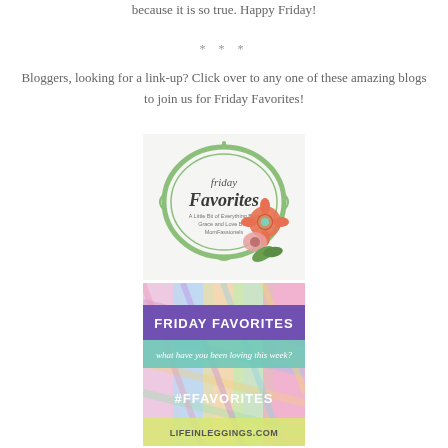because it is so true. Happy Friday!
* * *
Bloggers, looking for a link-up? Click over to any one of these amazing blogs to join us for Friday Favorites!
[Figure (illustration): Friday Favorites badge with green oval frame, decorative flowers (orange, pink), and text: 'Friday Favorites / A Little Bit of Everything Blog / Grace and Love Blog / MomFassionels']
[Figure (illustration): Friday Favorites banner image with colorful chevron/feather background, purple banner reading 'FRIDAY FAVORITES', teal strip reading 'what have you been loving this week?', text '#FFAVORITES' and 'LIFEINLEGGINGS.COM']